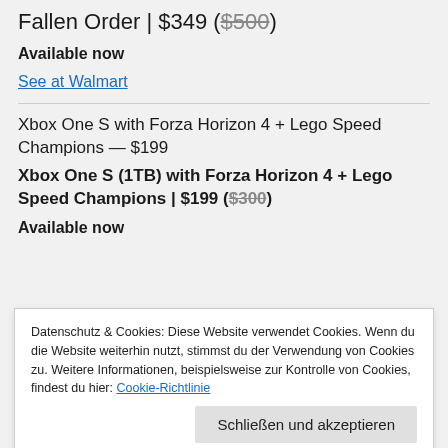Fallen Order | $349 ($500)
Available now
See at Walmart
Xbox One S with Forza Horizon 4 + Lego Speed Champions — $199
Xbox One S (1TB) with Forza Horizon 4 + Lego Speed Champions | $199 ($300)
Available now
Datenschutz & Cookies: Diese Website verwendet Cookies. Wenn du die Website weiterhin nutzt, stimmst du der Verwendung von Cookies zu. Weitere Informationen, beispielsweise zur Kontrolle von Cookies, findest du hier: Cookie-Richtlinie
Schließen und akzeptieren
Xbox One S (1TB) with ...| $219.99